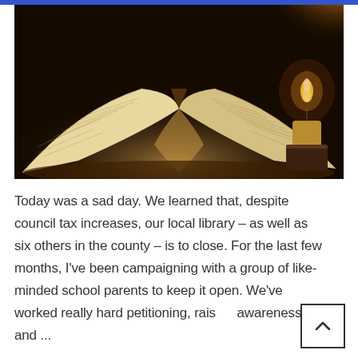[Figure (photo): An open book with pages folded into a heart shape, lit by a candle in the dark background on the right side.]
Today was a sad day. We learned that, despite council tax increases, our local library – as well as six others in the county – is to close. For the last few months, I've been campaigning with a group of like-minded school parents to keep it open. We've worked really hard petitioning, raising awareness and ...